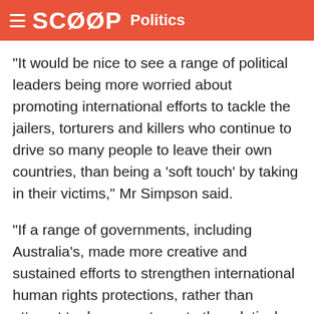SCOOP Politics
"It would be nice to see a range of political leaders being more worried about promoting international efforts to tackle the jailers, torturers and killers who continue to drive so many people to leave their own countries, than being a 'soft touch' by taking in their victims," Mr Simpson said.
"If a range of governments, including Australia's, made more creative and sustained efforts to strengthen international human rights protections, rather than attempt to deny sanctuary to the relatively few who seek it, the world would be a much safer place for all of us."